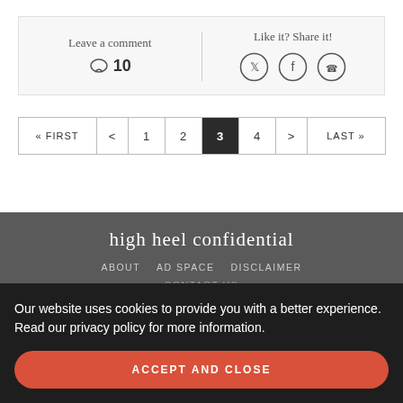Leave a comment
💬 10
Like it? Share it!
[Figure (infographic): Social share icons: Twitter, Facebook, WhatsApp in circles]
[Figure (infographic): Pagination bar: «FIRST < 1 2 [3] 4 > LAST»]
high heel confidential
ABOUT   AD SPACE   DISCLAIMER
CONTACT US
Our website uses cookies to provide you with a better experience. Read our privacy policy for more information.
ACCEPT AND CLOSE